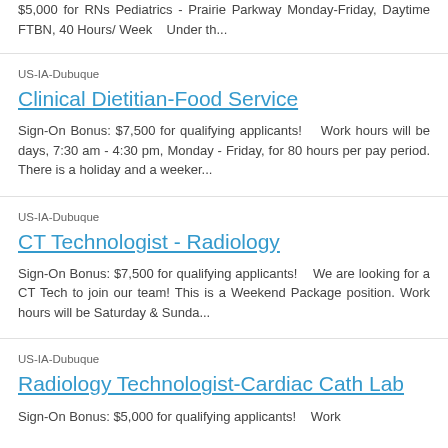$5,000 for RNs Pediatrics - Prairie Parkway Monday-Friday, Daytime FTBN, 40 Hours/ Week   Under th...
US-IA-Dubuque
Clinical Dietitian-Food Service
Sign-On Bonus: $7,500 for qualifying applicants!   Work hours will be days, 7:30 am - 4:30 pm, Monday - Friday, for 80 hours per pay period. There is a holiday and a weeker...
US-IA-Dubuque
CT Technologist - Radiology
Sign-On Bonus: $7,500 for qualifying applicants!   We are looking for a CT Tech to join our team! This is a Weekend Package position. Work hours will be Saturday & Sunda...
US-IA-Dubuque
Radiology Technologist-Cardiac Cath Lab
Sign-On Bonus: $5,000 for qualifying applicants!   Work